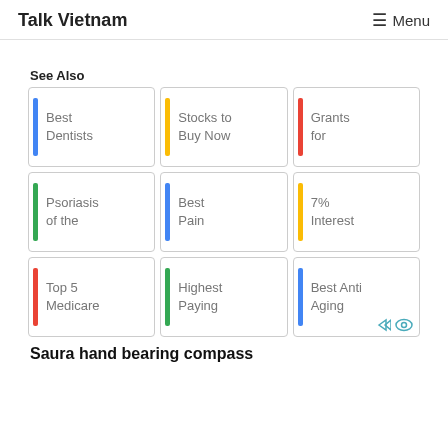Talk Vietnam    ☰ Menu
See Also
Best Dentists
Stocks to Buy Now
Grants for
Psoriasis of the
Best Pain
7% Interest
Top 5 Medicare
Highest Paying
Best Anti Aging
Saura hand bearing compass